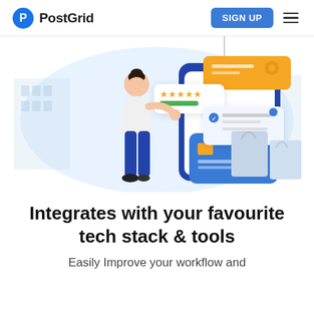PostGrid  SIGN UP
[Figure (illustration): Woman interacting with a large smartphone/app interface showing star ratings, a credit card, and shopping bags. E-commerce/app integration illustration with blue and yellow UI elements on a light blue background.]
Integrates with your favourite tech stack & tools
Easily Improve your workflow and